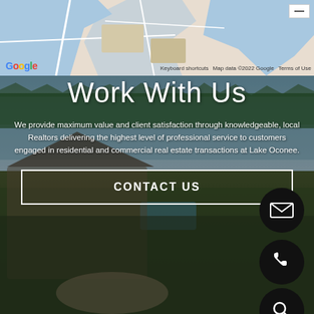[Figure (map): Google Maps aerial/street map view with water bodies shown in blue, roads in white, and land in beige/tan. Map controls visible in top right corner.]
Google   Keyboard shortcuts   Map data ©2022 Google   Terms of Use
[Figure (photo): Aerial/drone photo of a luxury lakefront property at Lake Oconee with stone house, pool, lush green landscaping, and the lake visible in background with trees and sky.]
Work With Us
We provide maximum value and client satisfaction through knowledgeable, local Realtors delivering the highest level of professional service to customers engaged in residential and commercial real estate transactions at Lake Oconee.
CONTACT US